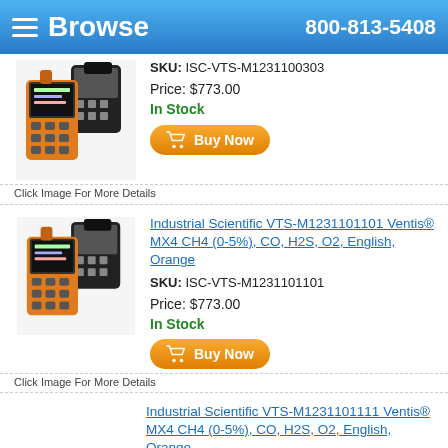Browse  800-813-5408
SKU: ISC-VTS-M1231100303
Price: $773.00
In Stock
[Figure (photo): Orange Ventis MX4 gas detector product image]
Click Image For More Details
Industrial Scientific VTS-M1231101101 Ventis® MX4 CH4 (0-5%), CO, H2S, O2, English, Orange
SKU: ISC-VTS-M1231101101
Price: $773.00
In Stock
[Figure (photo): Orange Ventis MX4 gas detector product image]
Click Image For More Details
Industrial Scientific VTS-M1231101111 Ventis® MX4 CH4 (0-5%), CO, H2S, O2, English, Orange